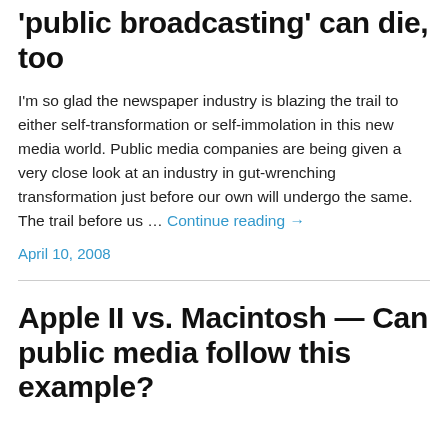'public broadcasting' can die, too
I'm so glad the newspaper industry is blazing the trail to either self-transformation or self-immolation in this new media world. Public media companies are being given a very close look at an industry in gut-wrenching transformation just before our own will undergo the same. The trail before us … Continue reading →
April 10, 2008
Apple II vs. Macintosh — Can public media follow this example?